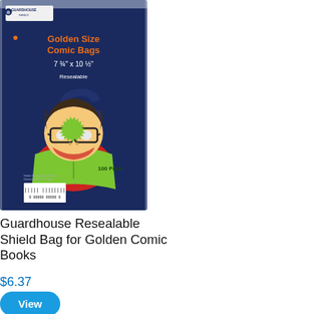[Figure (photo): Product packaging photo showing Guardhouse Shield Golden Size Comic Bags, 7 3/4 x 10 1/2 inches, Resealable, 100 Pack. Dark navy blue packaging with cartoon character reading a comic book.]
Guardhouse Resealable Shield Bag for Golden Comic Books
$6.37
View